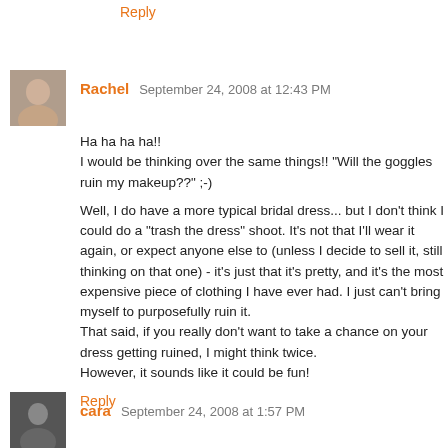Reply
Rachel  September 24, 2008 at 12:43 PM
Ha ha ha ha!!
I would be thinking over the same things!! "Will the goggles ruin my makeup??" ;-)

Well, I do have a more typical bridal dress... but I don't think I could do a "trash the dress" shoot. It's not that I'll wear it again, or expect anyone else to (unless I decide to sell it, still thinking on that one) - it's just that it's pretty, and it's the most expensive piece of clothing I have ever had. I just can't bring myself to purposefully ruin it.
That said, if you really don't want to take a chance on your dress getting ruined, I might think twice.
However, it sounds like it could be fun!
Reply
cara  September 24, 2008 at 1:57 PM